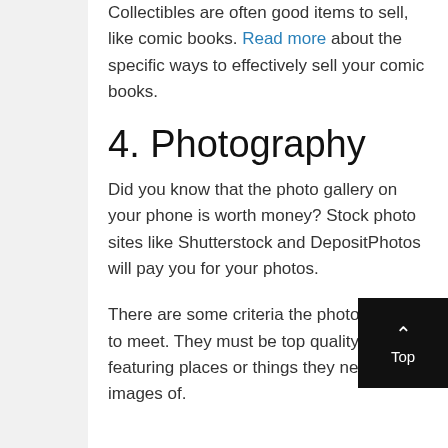Collectibles are often good items to sell, like comic books. Read more about the specific ways to effectively sell your comic books.
4. Photography
Did you know that the photo gallery on your phone is worth money? Stock photo sites like Shutterstock and DepositPhotos will pay you for your photos.
There are some criteria the photos have to meet. They must be top quality and featuring places or things they need more images of.